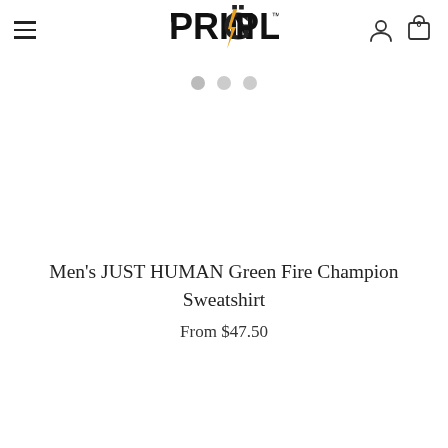PRIN'G'PLE™ — navigation header with hamburger menu, logo, user icon, cart icon (0)
[Figure (other): Three dot navigation indicators (carousel dots), two light gray and one slightly darker]
Men's JUST HUMAN Green Fire Champion Sweatshirt
From $47.50